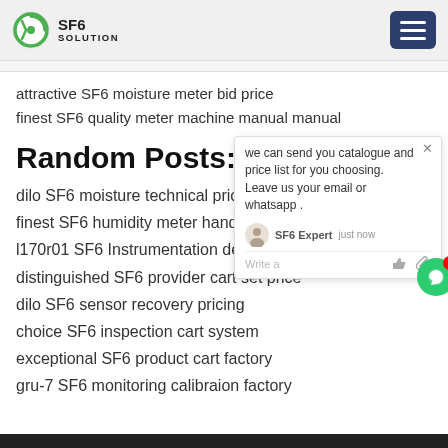SF6 SOLUTION
attractive SF6 moisture meter bid price
finest SF6 quality meter machine manual manual
Random Posts:
dilo SF6 moisture technical price
finest SF6 humidity meter handling price
l170r01 SF6 Instrumentation device price
distinguished SF6 provider cart set price
dilo SF6 sensor recovery pricing
choice SF6 inspection cart system
exceptional SF6 product cart factory
gru-7 SF6 monitoring calibraion factory
we can send you catalogue and price list for you choosing.
Leave us your email or whatsapp .
SF6 Expert  just now
Write a